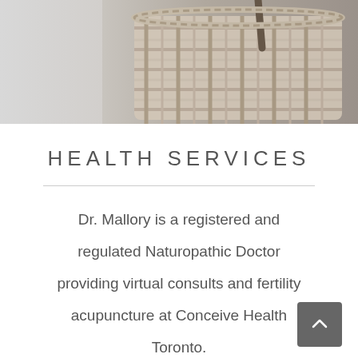[Figure (photo): Wicker/rattan basket photographed against a light grey background, top portion visible]
HEALTH SERVICES
Dr. Mallory is a registered and regulated Naturopathic Doctor providing virtual consults and fertility acupuncture at Conceive Health Toronto.